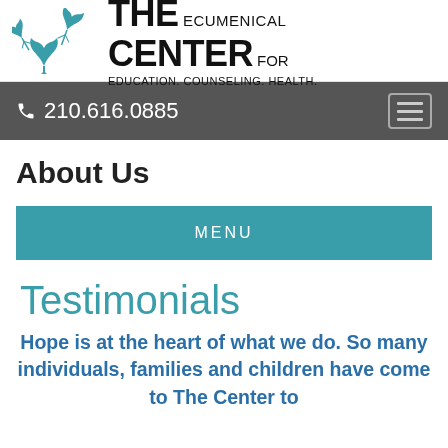[Figure (logo): The Ecumenical Center for Education. Counseling. Health. logo with teal maple leaves and bold text]
210.616.0885
About Us
MENU
Testimonials
Hope is at the heart of what we do. So many individuals, families and children have come to The Center to